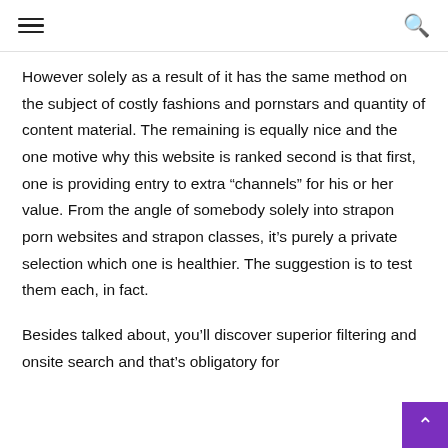☰  🔍
However solely as a result of it has the same method on the subject of costly fashions and pornstars and quantity of content material. The remaining is equally nice and the one motive why this website is ranked second is that first, one is providing entry to extra “channels” for his or her value. From the angle of somebody solely into strapon porn websites and strapon classes, it’s purely a private selection which one is healthier. The suggestion is to test them each, in fact.
Besides talked about, you’ll discover superior filtering and onsite search and that’s obligatory for